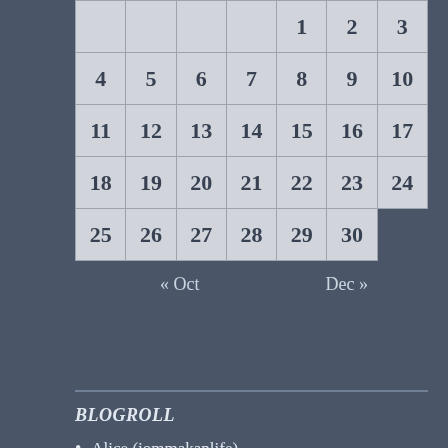|  |  |  |  | 1 | 2 | 3 |
| 4 | 5 | 6 | 7 | 8 | 9 | 10 |
| 11 | 12 | 13 | 14 | 15 | 16 | 17 |
| 18 | 19 | 20 | 21 | 22 | 23 | 24 |
| 25 | 26 | 27 | 28 | 29 | 30 |  |
« Oct    Dec »
BLOGROLL
Alice (jommakanlife)
Andrew
Andy (Singapore)